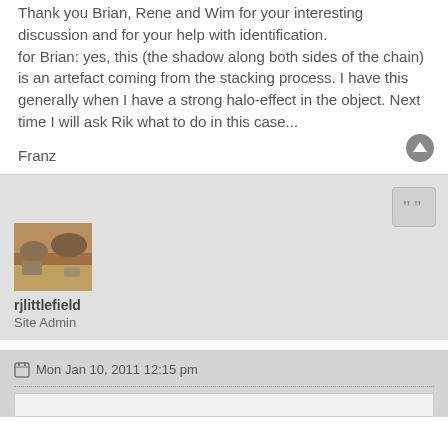Thank you Brian, Rene and Wim for your interesting discussion and for your help with identification.
for Brian: yes, this (the shadow along both sides of the chain) is an artefact coming from the stacking process. I have this generally when I have a strong halo-effect in the object. Next time I will ask Rik what to do in this case...
Franz
rjlittlefield
Site Admin
Mon Jan 10, 2011 12:15 pm